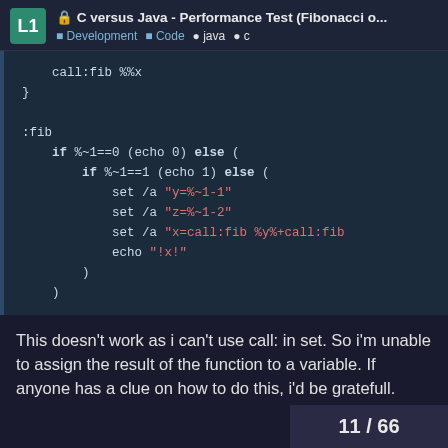C versus Java - Performance Test (Fibonacci o... Development Code • java • c
[Figure (screenshot): Code block showing batch script Fibonacci implementation with call:fib %%x, :fib label, if/else conditionals, set /a commands with string variables, and echo statement]
This doesn't work as i can't use call: in set. So i'm unable to assign the result of the function to a variable. If anyone has a clue on how to do this, i'd be gratefull.
11 / 66